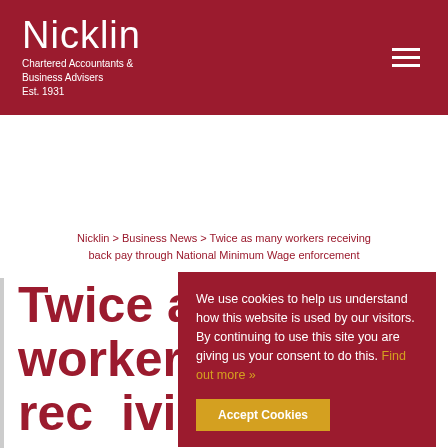Nicklin Chartered Accountants & Business Advisers Est. 1931
Nicklin > Business News > Twice as many workers receiving back pay through National Minimum Wage enforcement
Twice as many workers receiving back pay through
We use cookies to help us understand how this website is used by our visitors. By continuing to use this site you are giving us your consent to do this. Find out more »
Accept Cookies